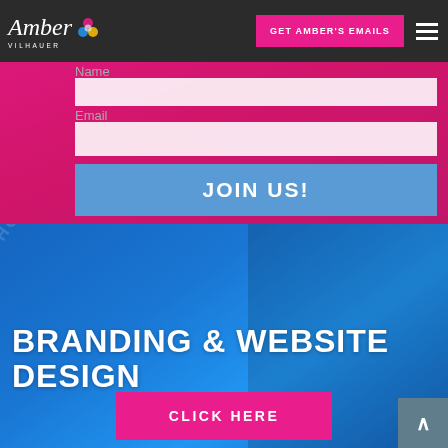[Figure (screenshot): Website navigation bar with Amber Vilhauer logo, GET AMBER'S EMAILS pink button, and hamburger menu on dark background]
Name
Email
JOIN US!
[Figure (screenshot): Blue section with diagonal watermark text CHOOSE US FOR SERIOUS RESULTS, heading BRANDING & WEBSITE DESIGN, and pink CLICK HERE button]
BRANDING & WEBSITE DESIGN
CLICK HERE
CHOOSE US FOR SERIOUS RESULTS